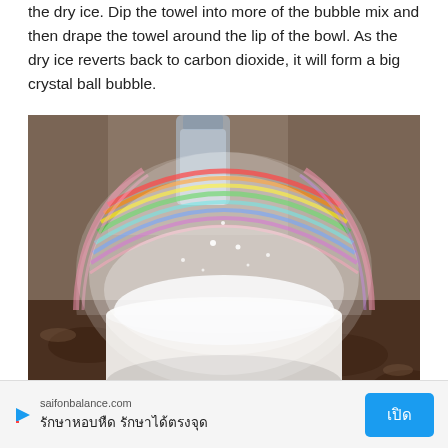the dry ice. Dip the towel into more of the bubble mix and then drape the towel around the lip of the bowl. As the dry ice reverts back to carbon dioxide, it will form a big crystal ball bubble.
[Figure (photo): A large iridescent soap bubble dome sitting on top of a white bowl on a granite countertop, with a glass jar visible in the background. The bubble shows rainbow colors along its top edge and white misty dry ice vapor inside.]
saifonbalance.com รักษาหอบหืด รักษาได้ตรงจุด